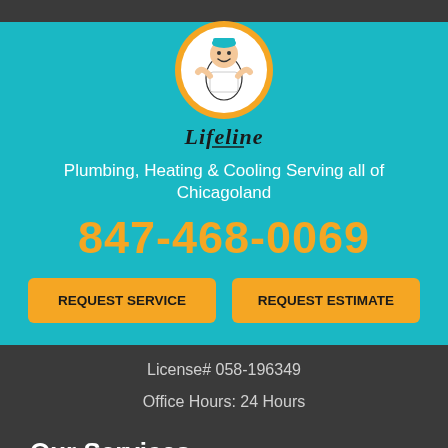[Figure (logo): Lifeline Plumbing circular logo with cartoon plumber mascot and cursive 'Lifeline' text below]
Plumbing, Heating & Cooling Serving all of Chicagoland
847-468-0069
REQUEST SERVICE
REQUEST ESTIMATE
License# 058-196349
Office Hours: 24 Hours
Our Services
Plumbing